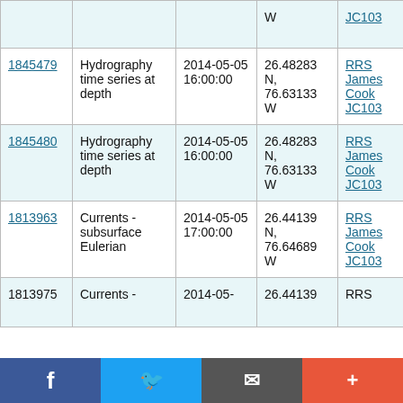| ID | Type | Date | Location | Vessel |
| --- | --- | --- | --- | --- |
|  |  | W |  | JC103 |
| 1845479 | Hydrography time series at depth | 2014-05-05 16:00:00 | 26.48283 N, 76.63133 W | RRS James Cook JC103 |
| 1845480 | Hydrography time series at depth | 2014-05-05 16:00:00 | 26.48283 N, 76.63133 W | RRS James Cook JC103 |
| 1813963 | Currents - subsurface Eulerian | 2014-05-05 17:00:00 | 26.44139 N, 76.64689 W | RRS James Cook JC103 |
| 1813975 | Currents - | 2014-05- | 26.44139 | RRS |